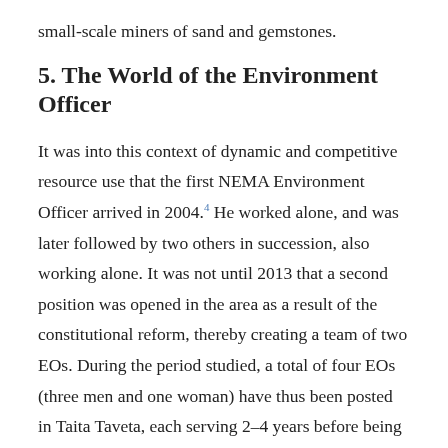small-scale miners of sand and gemstones.
5. The World of the Environment Officer
It was into this context of dynamic and competitive resource use that the first NEMA Environment Officer arrived in 2004.4 He worked alone, and was later followed by two others in succession, also working alone. It was not until 2013 that a second position was opened in the area as a result of the constitutional reform, thereby creating a team of two EOs. During the period studied, a total of four EOs (three men and one woman) have thus been posted in Taita Taveta, each serving 2–4 years before being rotated to a new area. The EOs have been at different stages in their career –